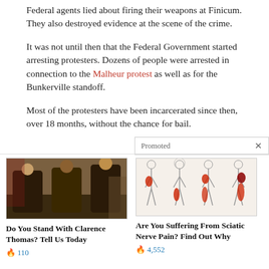Federal agents lied about firing their weapons at Finicum. They also destroyed evidence at the scene of the crime.
It was not until then that the Federal Government started arresting protesters. Dozens of people were arrested in connection to the Malheur protest as well as for the Bunkerville standoff.
Most of the protesters have been incarcerated since then, over 18 months, without the chance for bail.
[Figure (photo): Photo of three men in suits standing together]
Do You Stand With Clarence Thomas? Tell Us Today
🔥 110
[Figure (illustration): Medical illustration showing human body outlines with sciatic nerve pain highlighted in red]
Are You Suffering From Sciatic Nerve Pain? Find Out Why
🔥 4,552